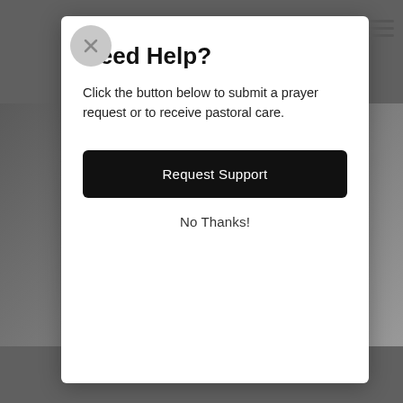Need Help?
Click the button below to submit a prayer request or to receive pastoral care.
Request Support
No Thanks!